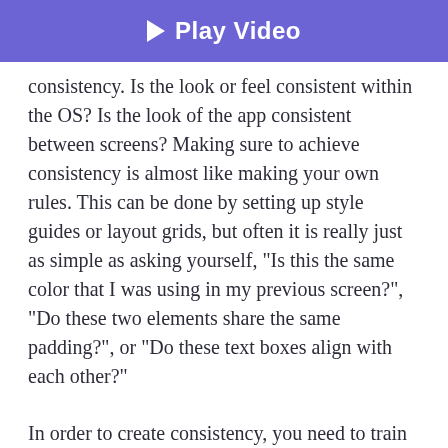[Figure (other): Purple play video button bar at top]
consistency. Is the look or feel consistent within the OS? Is the look of the app consistent between screens? Making sure to achieve consistency is almost like making your own rules. This can be done by setting up style guides or layout grids, but often it is really just as simple as asking yourself, “Is this the same color that I was using in my previous screen?”, “Do these two elements share the same padding?”, or “Do these text boxes align with each other?”
In order to create consistency, you need to train
4 design patterns for a RESTless mobile integration »
meticulous. They obsess over the small details, and